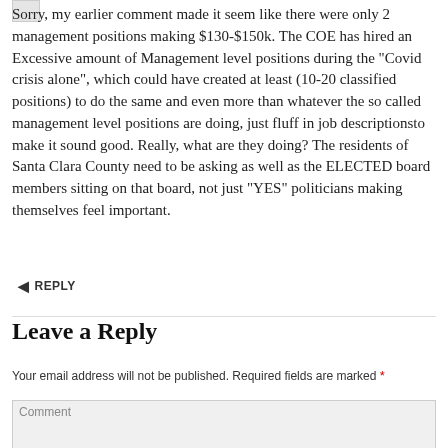Sorry, my earlier comment made it seem like there were only 2 management positions making $130-$150k. The COE has hired an Excessive amount of Management level positions during the “Covid crisis alone”, which could have created at least (10-20 classified positions) to do the same and even more than whatever the so called management level positions are doing, just fluff in job descriptionsto make it sound good. Really, what are they doing? The residents of Santa Clara County need to be asking as well as the ELECTED board members sitting on that board, not just “YES” politicians making themselves feel important.
REPLY
Leave a Reply
Your email address will not be published. Required fields are marked *
Comment